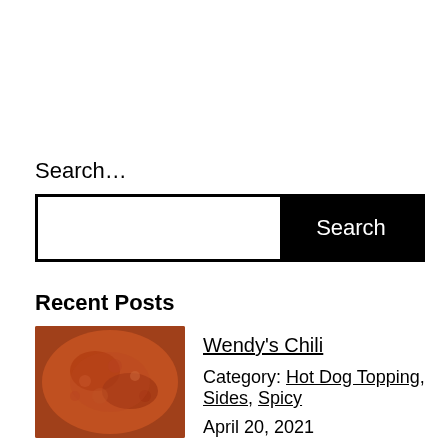Search…
[Figure (other): Search bar with text input area and black Search button]
Recent Posts
[Figure (photo): Photo of Wendy's Chili, a reddish-brown chili dish]
Wendy's Chili
Category: Hot Dog Topping, Sides, Spicy
April 20, 2021